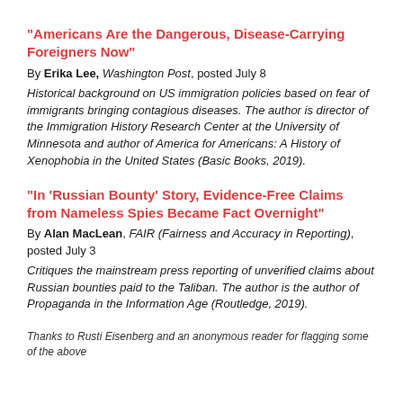"Americans Are the Dangerous, Disease-Carrying Foreigners Now"
By Erika Lee, Washington Post, posted July 8
Historical background on US immigration policies based on fear of immigrants bringing contagious diseases. The author is director of the Immigration History Research Center at the University of Minnesota and author of America for Americans: A History of Xenophobia in the United States (Basic Books, 2019).
"In 'Russian Bounty' Story, Evidence-Free Claims from Nameless Spies Became Fact Overnight"
By Alan MacLean, FAIR (Fairness and Accuracy in Reporting), posted July 3
Critiques the mainstream press reporting of unverified claims about Russian bounties paid to the Taliban. The author is the author of Propaganda in the Information Age (Routledge, 2019).
Thanks to Rusti Eisenberg and an anonymous reader for flagging some of the above